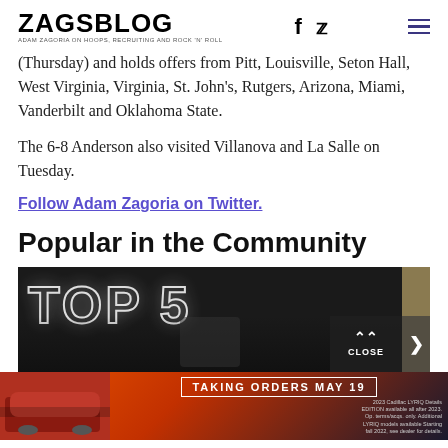ZAGSBLOG — ADAM ZAGORIA ON HOOPS, RECRUITING AND ROCK 'N' ROLL
(Thursday) and holds offers from Pitt, Louisville, Seton Hall, West Virginia, Virginia, St. John's, Rutgers, Arizona, Miami, Vanderbilt and Oklahoma State.
The 6-8 Anderson also visited Villanova and La Salle on Tuesday.
Follow Adam Zagoria on Twitter.
Popular in the Community
[Figure (photo): TOP 5 text in neon-style letters with a person below, partial side image visible, close button overlay]
[Figure (photo): Cadillac advertisement banner — TAKING ORDERS MAY 19 for 2023 Cadillac LYRIQ]